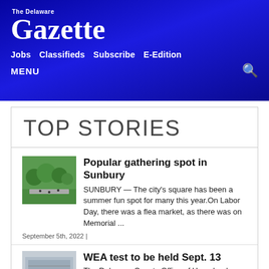The Delaware Gazette
Jobs  Classifieds  Subscribe  E-Edition
MENU
TOP STORIES
[Figure (photo): Aerial view of a park/town square with trees and people gathered]
Popular gathering spot in Sunbury
SUNBURY — The city's square has been a summer fun spot for many this year.On Labor Day, there was a flea market, as there was on Memorial ...
September 5th, 2022 |
[Figure (photo): Building or facility related to WEA test announcement]
WEA test to be held Sept. 13
The Delaware County Office of Homeland Security...